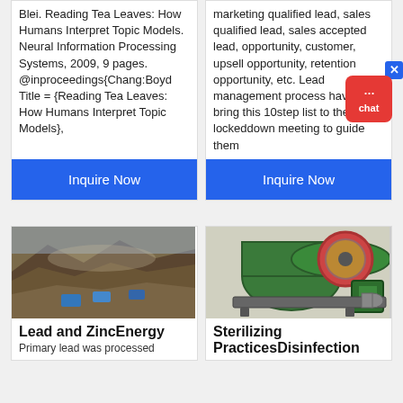Blei. Reading Tea Leaves: How Humans Interpret Topic Models. Neural Information Processing Systems, 2009, 9 pages. @inproceedings{Chang:Boyd Title = {Reading Tea Leaves: How Humans Interpret Topic Models},
marketing qualified lead, sales qualified lead, sales accepted lead, opportunity, customer, upsell opportunity, retention opportunity, etc. Lead management process have them bring this 10step list to the lockeddown meeting to guide them
Inquire Now
Inquire Now
[Figure (photo): Aerial view of an open-pit mining site with heavy machinery and trucks]
Lead and ZincEnergy
Primary lead was processed
[Figure (photo): Green industrial ball mill machine with motor on white background]
Sterilizing PracticesDisinfection